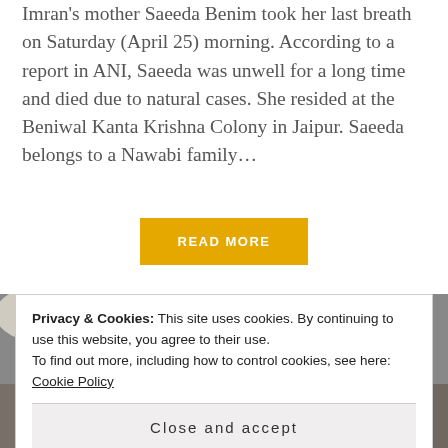Imran's mother Saeeda Benim took her last breath on Saturday (April 25) morning. According to a report in ANI, Saeeda was unwell for a long time and died due to natural cases. She resided at the Beniwal Kanta Krishna Colony in Jaipur. Saeeda belongs to a Nawabi family...
READ MORE
[Figure (photo): Two people shown in a photograph, partially visible, appearing to be at some kind of gathering or event.]
Privacy & Cookies: This site uses cookies. By continuing to use this website, you agree to their use.
To find out more, including how to control cookies, see here: Cookie Policy
Close and accept